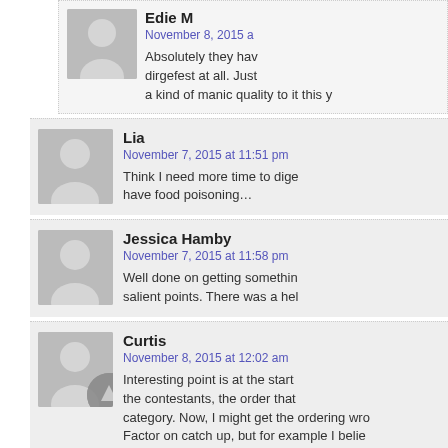Edie M
November 8, 2015 a
Absolutely they hav dirgefest at all. Just a kind of manic quality to it this y
Lia
November 7, 2015 at 11:51 pm
Think I need more time to dige have food poisoning…
Jessica Hamby
November 7, 2015 at 11:58 pm
Well done on getting somethin salient points. There was a hel
Curtis
November 8, 2015 at 12:02 am
Interesting point is at the start the contestants, the order that category. Now, I might get the ordering wro Factor on catch up, but for example I belie